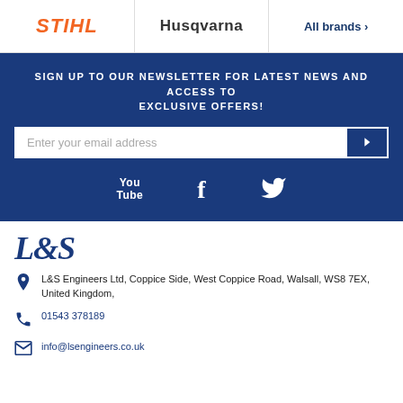[Figure (logo): STIHL logo in orange italic bold text]
[Figure (logo): Husqvarna logo in dark gray text]
All brands >
SIGN UP TO OUR NEWSLETTER FOR LATEST NEWS AND ACCESS TO EXCLUSIVE OFFERS!
Enter your email address
[Figure (logo): YouTube icon - text 'You Tube']
[Figure (logo): Facebook icon - letter f]
[Figure (logo): Twitter bird icon]
[Figure (logo): L&S Engineers logo in dark blue serif font]
L&S Engineers Ltd, Coppice Side, West Coppice Road, Walsall, WS8 7EX, United Kingdom,
01543 378189
info@lsengineers.co.uk